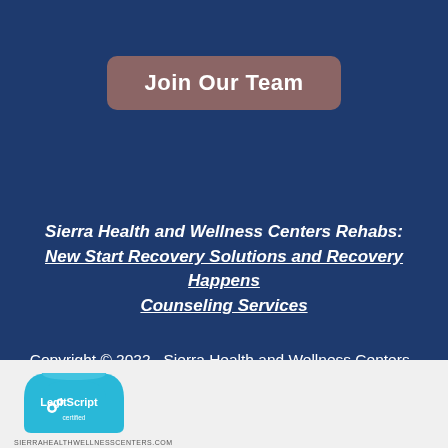Join Our Team
Sierra Health and Wellness Centers Rehabs: New Start Recovery Solutions and Recovery Happens Counseling Services
Copyright © 2022 · Sierra Health and Wellness Centers · All Rights Reserved
Privacy Policy
[Figure (logo): LegitScript certification badge logo with teal house/shield shape and white text]
SIERRAHEALTHWELLNESSCENTERS.COM